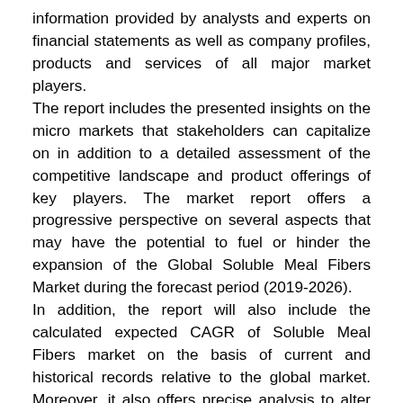information provided by analysts and experts on financial statements as well as company profiles, products and services of all major market players. The report includes the presented insights on the micro markets that stakeholders can capitalize on in addition to a detailed assessment of the competitive landscape and product offerings of key players. The market report offers a progressive perspective on several aspects that may have the potential to fuel or hinder the expansion of the Global Soluble Meal Fibers Market during the forecast period (2019-2026). In addition, the report will also include the calculated expected CAGR of Soluble Meal Fibers market on the basis of current and historical records relative to the global market. Moreover, it also offers precise analysis to alter the competitive dynamics of the market, which can further aid in decision making. It also helps to recognize key products and their growth potential over the projected period.